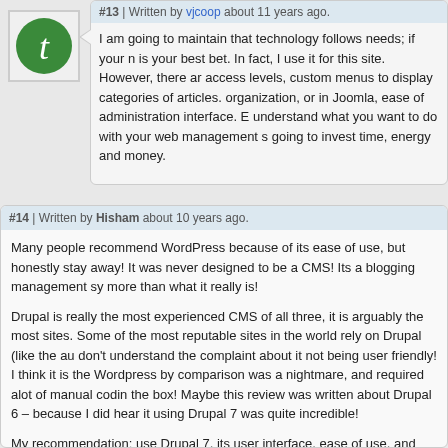#13 | Written by vjcoop about 11 years ago.
I am going to maintain that technology follows needs; if your n is your best bet. In fact, I use it for this site. However, there ar access levels, custom menus to display categories of articles. organization, or in Joomla, ease of administration interface. E understand what you want to do with your web management s going to invest time, energy and money.
#14 | Written by Hisham about 10 years ago.
Many people recommend WordPress because of its ease of use, but honestly stay away! It was never designed to be a CMS! Its a blogging management sy more than what it really is!
Drupal is really the most experienced CMS of all three, it is arguably the most sites. Some of the most reputable sites in the world rely on Drupal (like the au don't understand the complaint about it not being user friendly! I think it is the Wordpress by comparison was a nightmare, and required alot of manual codin the box! Maybe this review was written about Drupal 6 – because I did hear it using Drupal 7 was quite incredible!
My recommendation: use Drupal 7, its user interface, ease of use, and extens – including the paid systems!